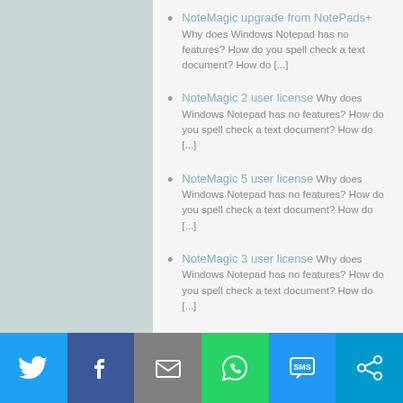NoteMagic upgrade from NotePads+ Why does Windows Notepad has no features? How do you spell check a text document? How do [...]
NoteMagic 2 user license Why does Windows Notepad has no features? How do you spell check a text document? How do [...]
NoteMagic 5 user license Why does Windows Notepad has no features? How do you spell check a text document? How do [...]
NoteMagic 3 user license Why does Windows Notepad has no features? How do you spell check a text document? How do [...]
Snmp Tftp Server Snmp Tftp Server is the super version of Quick Tftp Server Pro. It designed to allow [...]
NoteMagic Why does Windows Notepad has no features? How do you spell check a text document?
[Figure (infographic): Social sharing footer bar with icons for Twitter (blue), Facebook (dark blue), Email (gray), WhatsApp (green), SMS (blue), and Share (cyan)]